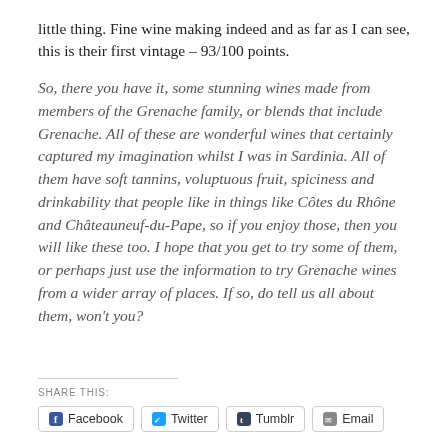little thing. Fine wine making indeed and as far as I can see, this is their first vintage – 93/100 points.
So, there you have it, some stunning wines made from members of the Grenache family, or blends that include Grenache. All of these are wonderful wines that certainly captured my imagination whilst I was in Sardinia. All of them have soft tannins, voluptuous fruit, spiciness and drinkability that people like in things like Côtes du Rhône and Châteauneuf-du-Pape, so if you enjoy those, then you will like these too. I hope that you get to try some of them, or perhaps just use the information to try Grenache wines from a wider array of places. If so, do tell us all about them, won't you?
SHARE THIS:
Facebook  Twitter  Tumblr  Email